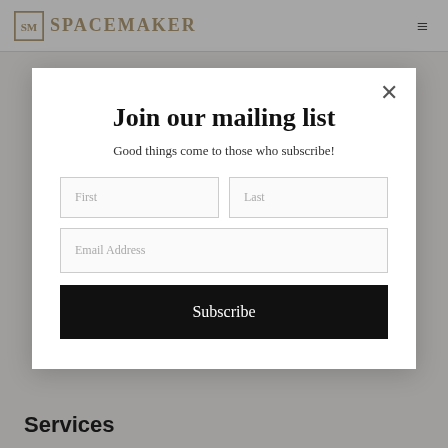SpaceMaker
Join our mailing list
Good things come to those who subscribe!
First
Last
Email Address
Subscribe
Services